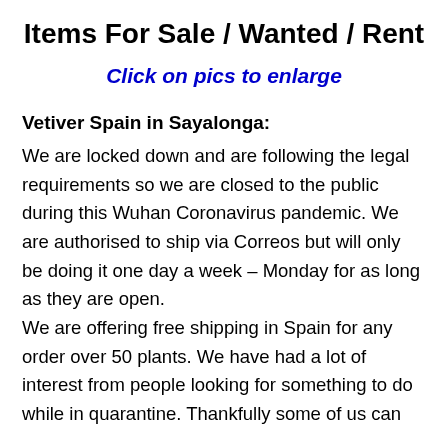Items For Sale / Wanted / Rent
Click on pics to enlarge
Vetiver Spain in Sayalonga:
We are locked down and are following the legal requirements so we are closed to the public during this Wuhan Coronavirus pandemic. We are authorised to ship via Correos but will only be doing it one day a week – Monday for as long as they are open.
We are offering free shipping in Spain for any order over 50 plants. We have had a lot of interest from people looking for something to do while in quarantine. Thankfully some of us can